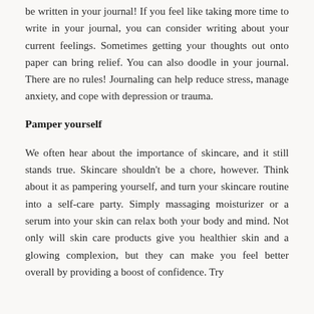be written in your journal! If you feel like taking more time to write in your journal, you can consider writing about your current feelings. Sometimes getting your thoughts out onto paper can bring relief. You can also doodle in your journal. There are no rules! Journaling can help reduce stress, manage anxiety, and cope with depression or trauma.
Pamper yourself
We often hear about the importance of skincare, and it still stands true. Skincare shouldn't be a chore, however. Think about it as pampering yourself, and turn your skincare routine into a self-care party. Simply massaging moisturizer or a serum into your skin can relax both your body and mind. Not only will skin care products give you healthier skin and a glowing complexion, but they can make you feel better overall by providing a boost of confidence. Try